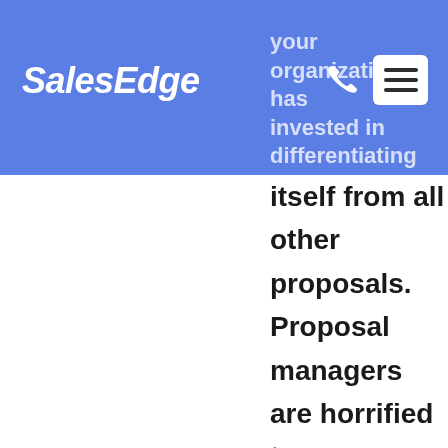SalesEdge
your organization has invested in differentiating itself from all other proposals. Proposal managers are horrified to see proposals delivered with the old logo, the wrong title page, an old address, or a lack of consistency with bullets and icons. It's a sloppy reflection on the organization and the proposed solution!